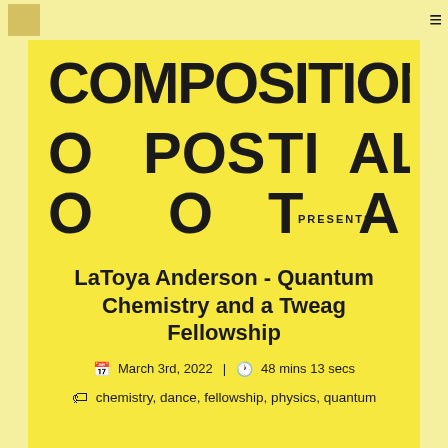[Figure (logo): COMPOSITIONAL POSTAL logo in large bold black letters on yellow background with PRESENTS text]
LaToya Anderson - Quantum Chemistry and a Tweag Fellowship
March 3rd, 2022 | 48 mins 13 secs
chemistry, dance, fellowship, physics, quantum